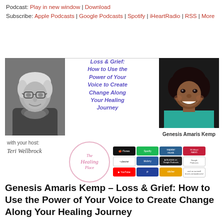Podcast: Play in new window | Download
Subscribe: Apple Podcasts | Google Podcasts | Spotify | iHeartRadio | RSS | More
[Figure (photo): Podcast episode banner with black-and-white photo of host Teri Wellbrock, episode title in purple/blue text, photo of guest Genesis Amaris Kemp, The Healing Place logo circle, and podcast platform icons (iTunes, Spotify, iHeartRadio, Napster, Deezer, Blubrry, Google Podcasts, YouTube, Pandora, Stitcher, and more)]
Genesis Amaris Kemp – Loss & Grief: How to Use the Power of Your Voice to Create Change Along Your Healing Journey